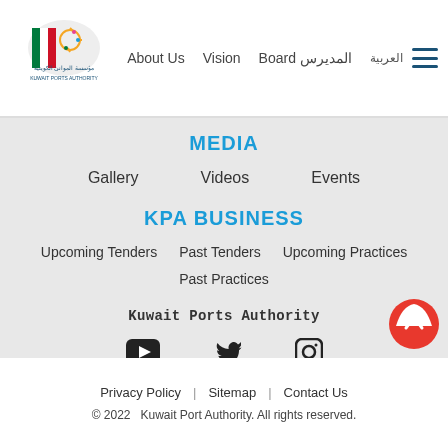[Figure (logo): Kuwait Ports Authority logo with Arabic text]
About Us   Vision   Board of Directors   العربية
MEDIA
Gallery   Videos   Events
KPA BUSINESS
Upcoming Tenders   Past Tenders   Upcoming Practices
Past Practices
Kuwait Ports Authority
[Figure (infographic): Social media icons: YouTube, Twitter, Instagram]
Privacy Policy | Sitemap | Contact Us
© 2022   Kuwait Port Authority. All rights reserved.